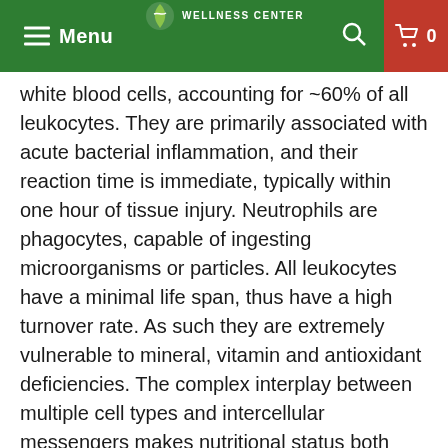Menu | WELLNESS CENTER | 🔍 | 🛒 0
white blood cells, accounting for ~60% of all leukocytes. They are primarily associated with acute bacterial inflammation, and their reaction time is immediate, typically within one hour of tissue injury. Neutrophils are phagocytes, capable of ingesting microorganisms or particles. All leukocytes have a minimal life span, thus have a high turnover rate. As such they are extremely vulnerable to mineral, vitamin and antioxidant deficiencies. The complex interplay between multiple cell types and intercellular messengers makes nutritional status both subtle and far-reaching, particularly when it involves immune activation. Chronic low-grade type infections, associated with neutrophil influx,